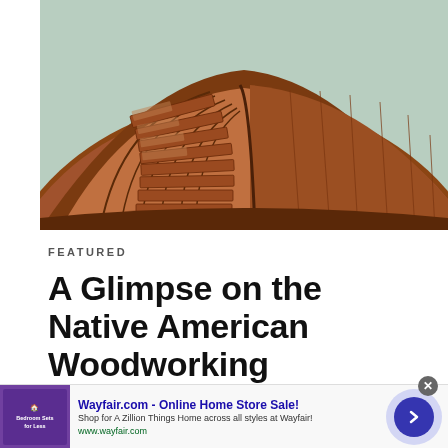[Figure (photo): Close-up photograph of a carved wooden bowl or plate with intricate geometric patterns — concentric ridged sections in warm reddish-brown tones against a pale green/grey background, showing Native American woodworking craftsmanship.]
FEATURED
A Glimpse on the Native American Woodworking
[Figure (infographic): Advertisement banner for Wayfair.com - Online Home Store Sale! with thumbnail of purple Wayfair ad, body text 'Shop for A Zillion Things Home across all styles at Wayfair!', URL www.wayfair.com, and a dark blue circular arrow button.]